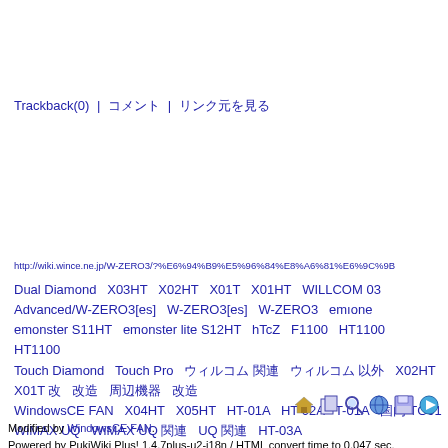Trackback(0) | コメント | リンク元を見る
http://wiki.wince.ne.jp/W-ZERO3/?%E6%94%B9%E5%96%84%E8%A6%81%E6%9C%9B
Dual Diamond   X03HT   X02HT   X01T   X01HT   WILLCOM 03   Advanced/W-ZERO3[es]   W-ZERO3[es]   W-ZERO3   em・one   emonster S11HT   emonster lite S12HT   hTcZ   F1100   HT1100   HT1100   Touch Diamond   Touch Pro   ウィルコム 関連   ウィルコム 以外   X02HT X01T 改   改造   周辺機器   改造   WindowsCE FAN   X04HT   X05HT   HT-01A   HT-02A   T-01A   国内 TG01   WiMAX UQ   WiMAX UQ 関連   UQ 関連   HT-03A
[Figure (other): Navigation icons: home, copy, search, globe, save, internet]
Modified by WindowsCE FAN.
Powered by PukiWiki Plus! 1.4.7plus-u2-i18n / HTML convert time to 0.047 sec.